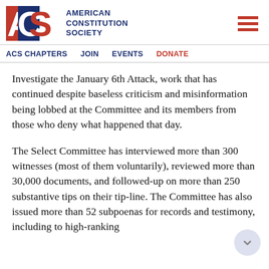[Figure (logo): American Constitution Society logo with ACS initials in red and blue, and full name in blue text]
ACS CHAPTERS   JOIN   EVENTS   DONATE
Investigate the January 6th Attack, work that has continued despite baseless criticism and misinformation being lobbed at the Committee and its members from those who deny what happened that day.
The Select Committee has interviewed more than 300 witnesses (most of them voluntarily), reviewed more than 30,000 documents, and followed-up on more than 250 substantive tips on their tip-line. The Committee has also issued more than 52 subpoenas for records and testimony, including to high-ranking